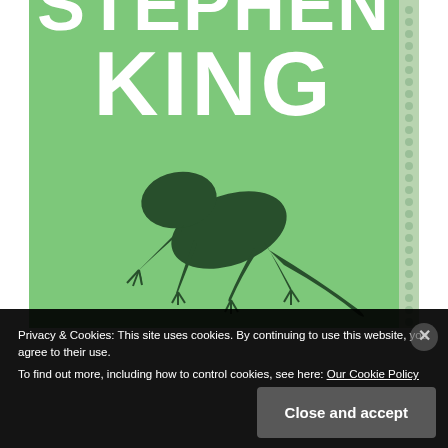[Figure (illustration): Book cover of a Stephen King novel featuring bold white text 'STEPHEN KING' on a bright green background with a dark silhouette of a lizard or salamander creature. The right edge shows a spiral notebook binding.]
Privacy & Cookies: This site uses cookies. By continuing to use this website, you agree to their use.
To find out more, including how to control cookies, see here: Our Cookie Policy
Close and accept